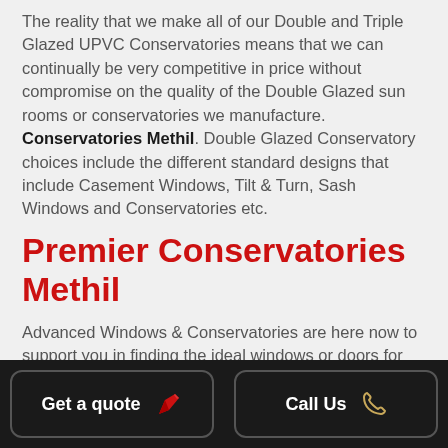The reality that we make all of our Double and Triple Glazed UPVC Conservatories means that we can continually be very competitive in price without compromise on the quality of the Double Glazed sun rooms or conservatories we manufacture. Conservatories Methil. Double Glazed Conservatory choices include the different standard designs that include Casement Windows, Tilt & Turn, Sash Windows and Conservatories etc.
Premier Conservatories Methil
Advanced Windows & Conservatories are here now to support you in finding the ideal windows or doors for your home. Call now to speak with our experts and reap the benefits of a FREE home survey by one of our professional
Get a quote | Call Us